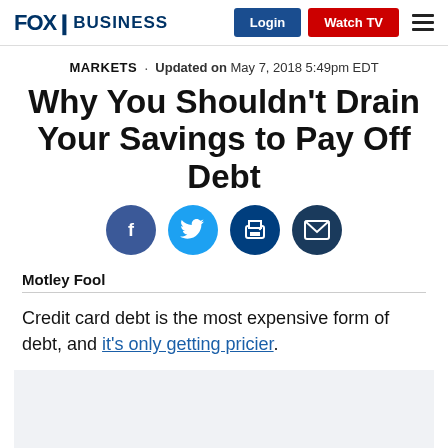FOX BUSINESS | Login | Watch TV
MARKETS · Updated on May 7, 2018 5:49pm EDT
Why You Shouldn't Drain Your Savings to Pay Off Debt
[Figure (infographic): Social sharing buttons: Facebook, Twitter, Print, Email]
Motley Fool
Credit card debt is the most expensive form of debt, and it's only getting pricier.
[Figure (other): Advertisement placeholder box]